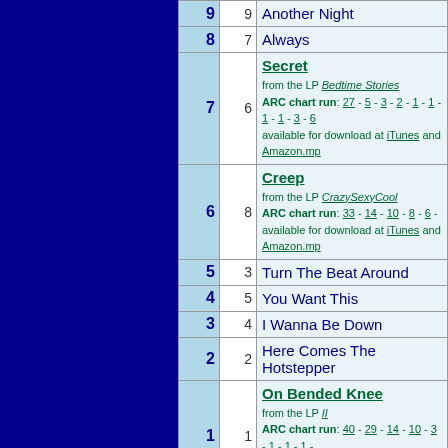| Rank | Prev | Song |
| --- | --- | --- |
| 9 | 9 | Another Night |
| 8 | 7 | Always |
| 7 | 6 | Secret / from the LP Bedtime Stories / ARC chart run: 27-5-3-2-1-1-1-1-3-6 / available for download at iTunes and Amazon.mp |
| 6 | 8 | Creep / from the LP CrazySexyCool / ARC chart run: 33-14-10-8-6- / available for download at iTunes and Amazon.mp |
| 5 | 3 | Turn The Beat Around |
| 4 | 5 | You Want This |
| 3 | 4 | I Wanna Be Down |
| 2 | 2 | Here Comes The Hotstepper |
| 1 | 1 | On Bended Knee / from the LP II / ARC chart run: 40-29-14-10-3-1-1-1- / available for download at iTunes and Amazon.mp |